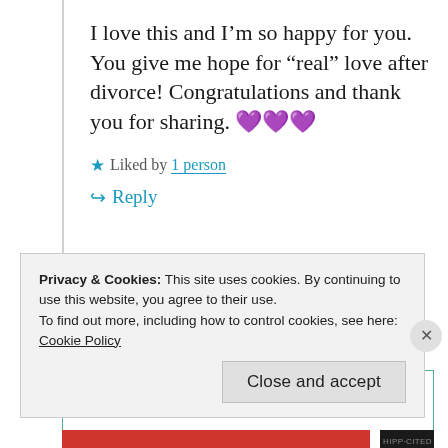I love this and I’m so happy for you. You give me hope for “real” love after divorce! Congratulations and thank you for sharing. 💜💜💜
★ Liked by 1 person
↪ Reply
Privacy & Cookies: This site uses cookies. By continuing to use this website, you agree to their use.
To find out more, including how to control cookies, see here: Cookie Policy
Close and accept